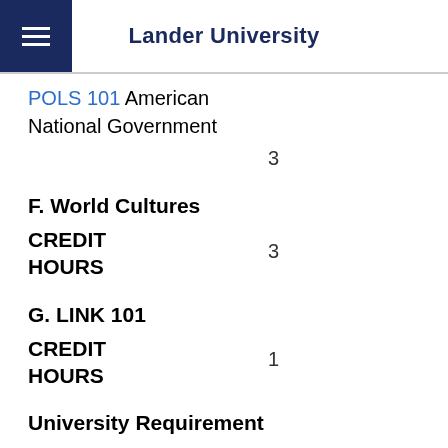Lander University
POLS 101 American National Government
3
F. World Cultures
CREDIT HOURS
3
G. LINK 101
CREDIT HOURS
1
University Requirement